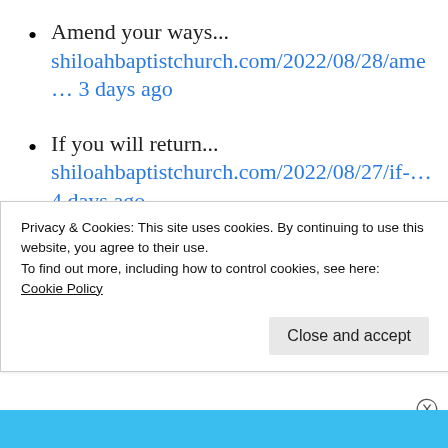Amend your ways... shiloahbaptistchurch.com/2022/08/28/ame ... 3 days ago
If you will return... shiloahbaptistchurch.com/2022/08/27/if-... 4 days ago
PAGES
Privacy & Cookies: This site uses cookies. By continuing to use this website, you agree to their use.
To find out more, including how to control cookies, see here:
Cookie Policy
Close and accept